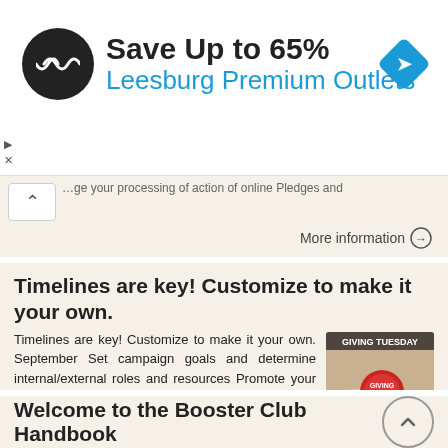[Figure (screenshot): Advertisement banner: black circular logo with double arrow symbol, text 'Save Up to 65%' in bold black and 'Leesburg Premium Outlets' in blue, blue diamond navigation icon on right]
…ge your processing of action of online Pledges and
More information →
Timelines are key! Customize to make it your own.
Timelines are key! Customize to make it your own. September Set campaign goals and determine internal/external roles and resources Promote your non-profit s #GivingTuesday campaign to local press Submit
[Figure (photo): Photo of hands holding a red stamp/seal on a document]
More information →
Welcome to the Booster Club Handbook